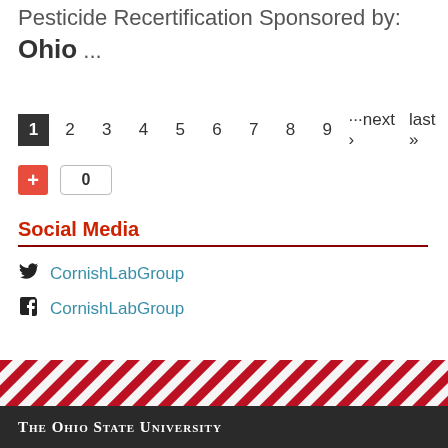Pesticide Recertification Sponsored by: Ohio ...
1 2 3 4 5 6 7 8 9 ···next › last »
[Figure (other): Add/share widget with plus button and count box showing 0]
Social Media
CornishLabGroup (Twitter)
CornishLabGroup (Facebook)
[Figure (infographic): Ohio State University diagonal red and white stripe decorative band]
The Ohio State University